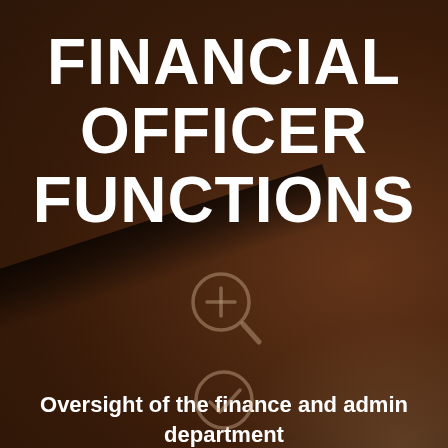FINANCIAL OFFICER FUNCTIONS
[Figure (illustration): Magnifying glass with plus icon, semi-transparent on dark brown background]
Oversight of the finance and admin department
[Figure (illustration): Circle with checkmark icon, semi-transparent on dark brown background]